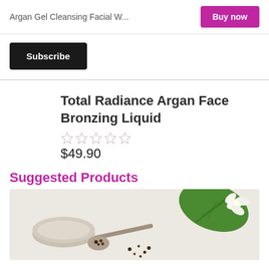Argan Gel Cleansing Facial W...
Buy now
Subscribe
Total Radiance Argan Face Bronzing Liquid
$49.90
Suggested Products
[Figure (photo): Product photo showing a small ceramic bowl, a spoon with seeds/herbs, scattered seeds, a green leaf, and a white flower on a light background]